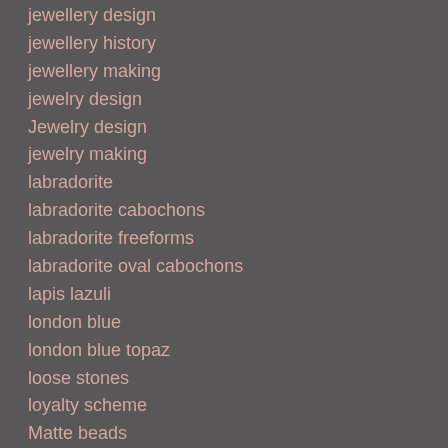jewellery design
jewellery history
jewellery making
jewelry design
Jewelry design
jewelry making
labradorite
labradorite cabochons
labradorite freeforms
labradorite oval cabochons
lapis lazuli
london blue
london blue topaz
loose stones
loyalty scheme
Matte beads
mixed cuts
New listing